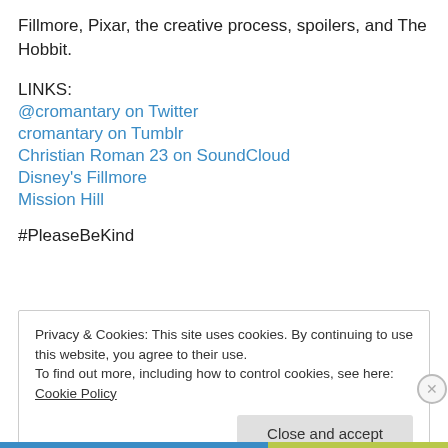Fillmore, Pixar, the creative process, spoilers, and The Hobbit.
LINKS:
@cromantary on Twitter
cromantary on Tumblr
Christian Roman 23 on SoundCloud
Disney's Fillmore
Mission Hill
#PleaseBeKind
Privacy & Cookies: This site uses cookies. By continuing to use this website, you agree to their use. To find out more, including how to control cookies, see here: Cookie Policy